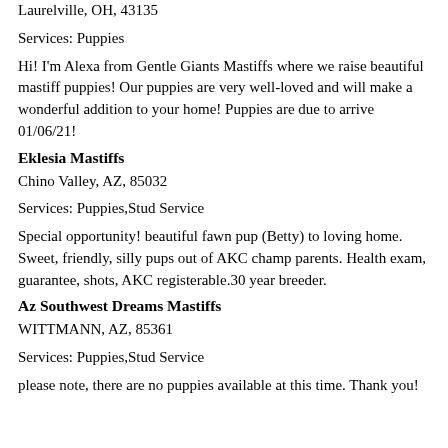Laurelville, OH, 43135
Services: Puppies
Hi! I'm Alexa from Gentle Giants Mastiffs where we raise beautiful mastiff puppies! Our puppies are very well-loved and will make a wonderful addition to your home! Puppies are due to arrive 01/06/21!
Eklesia Mastiffs
Chino Valley, AZ, 85032
Services: Puppies,Stud Service
Special opportunity! beautiful fawn pup (Betty) to loving home. Sweet, friendly, silly pups out of AKC champ parents. Health exam, guarantee, shots, AKC registerable.30 year breeder.
Az Southwest Dreams Mastiffs
WITTMANN, AZ, 85361
Services: Puppies,Stud Service
please note, there are no puppies available at this time. Thank you!